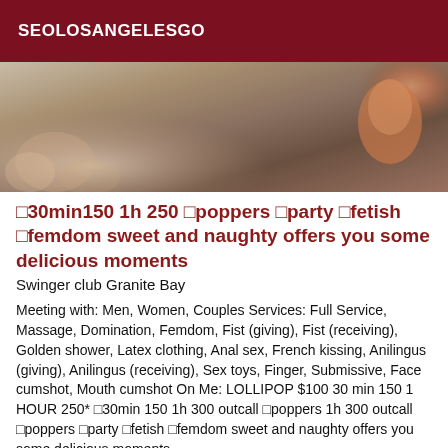SEOLOSANGELESGO
[Figure (photo): Close-up photo showing textured fabric with floral pattern and a hand/finger in warm tones]
🔥30min150 1h 250 🌟poppers 🎉party 💎fetish 👠femdom sweet and naughty offers you some delicious moments
Swinger club Granite Bay
Meeting with: Men, Women, Couples Services: Full Service, Massage, Domination, Femdom, Fist (giving), Fist (receiving), Golden shower, Latex clothing, Anal sex, French kissing, Anilingus (giving), Anilingus (receiving), Sex toys, Finger, Submissive, Face cumshot, Mouth cumshot On Me: LOLLIPOP $100 30 min 150 1 HOUR 250* 🔥30min 150 1h 300 outcall 🌟poppers 1h 300 outcall 🎉poppers 🎉party 💎fetish 👠femdom sweet and naughty offers you some delicious moments